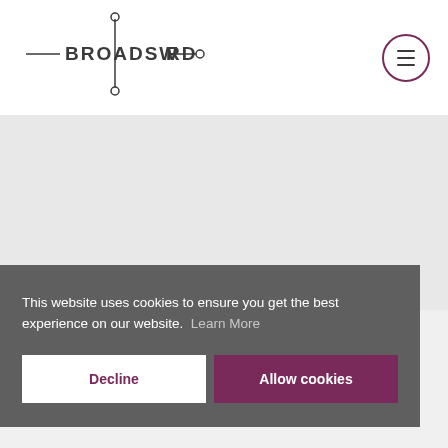[Figure (logo): Broadsword logo with network/connector graphic — horizontal line with nodes at ends and a vertical stem with circles at top and bottom through the O]
[Figure (other): Hamburger menu button — circle outline in dark purple with three horizontal lines inside]
This website uses cookies to ensure you get the best experience on our website.  Learn More
Decline
Allow cookies